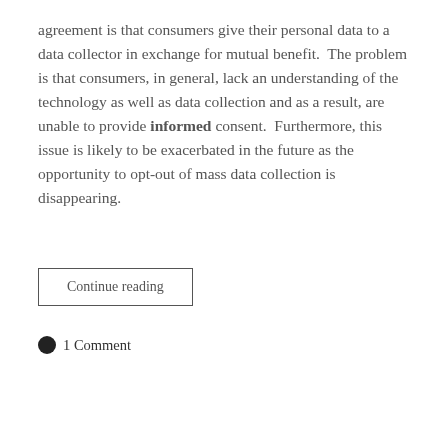agreement is that consumers give their personal data to a data collector in exchange for mutual benefit.  The problem is that consumers, in general, lack an understanding of the technology as well as data collection and as a result, are unable to provide informed consent.  Furthermore, this issue is likely to be exacerbated in the future as the opportunity to opt-out of mass data collection is disappearing.
Continue reading
1 Comment